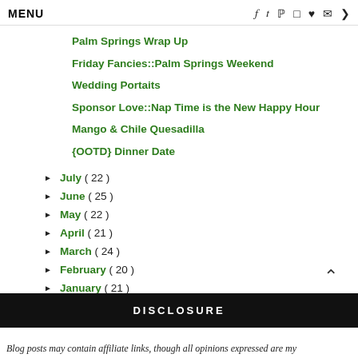MENU
Palm Springs Wrap Up
Friday Fancies::Palm Springs Weekend
Wedding Portaits
Sponsor Love::Nap Time is the New Happy Hour
Mango & Chile Quesadilla
{OOTD} Dinner Date
► July ( 22 )
► June ( 25 )
► May ( 22 )
► April ( 21 )
► March ( 24 )
► February ( 20 )
► January ( 21 )
DISCLOSURE
Blog posts may contain affiliate links, though all opinions expressed are my